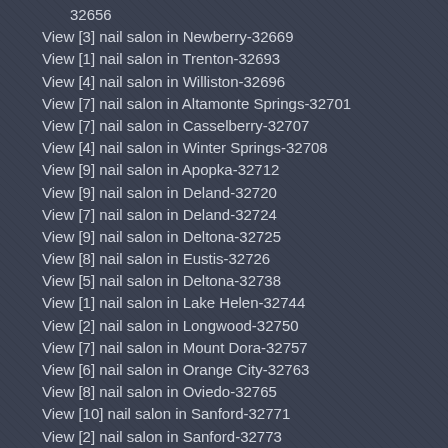32656
View [3] nail salon in Newberry-32669
View [1] nail salon in Trenton-32693
View [4] nail salon in Williston-32696
View [7] nail salon in Altamonte Springs-32701
View [7] nail salon in Casselberry-32707
View [4] nail salon in Winter Springs-32708
View [9] nail salon in Apopka-32712
View [9] nail salon in Deland-32720
View [7] nail salon in Deland-32724
View [9] nail salon in Deltona-32725
View [8] nail salon in Eustis-32726
View [5] nail salon in Deltona-32738
View [1] nail salon in Lake Helen-32744
View [2] nail salon in Longwood-32750
View [7] nail salon in Mount Dora-32757
View [6] nail salon in Orange City-32763
View [8] nail salon in Oviedo-32765
View [10] nail salon in Sanford-32771
View [2] nail salon in Sanford-32773
View [2] nail salon in Tavares-32778